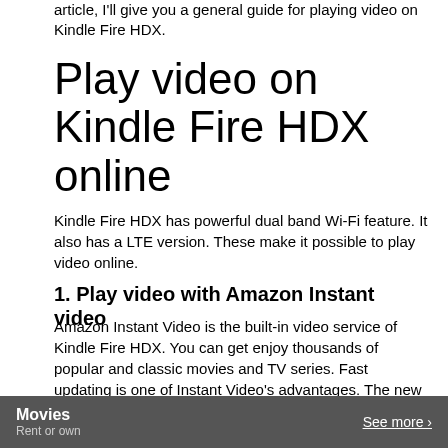article, I'll give you a general guide for playing video on Kindle Fire HDX.
Play video on Kindle Fire HDX online
Kindle Fire HDX has powerful dual band Wi-Fi feature. It also has a LTE version. These make it possible to play video online.
1. Play video with Amazon Instant video
Amazon Instant Video is the built-in video service of Kindle Fire HDX. You can get enjoy thousands of popular and classic movies and TV series. Fast updating is one of Instant Video's advantages. The new episodes are always available the day after they air.

Most of the videos in Instant Video are paid ones. But you can enjoy a discount if you are an Amazon Prime member. And the video stream for Prime member is instant. You don't need to wait so long for the buffering.
Movies
Rent or own
See more >